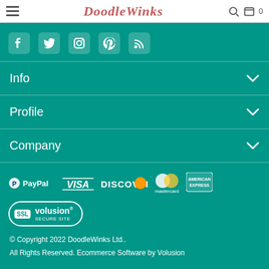DoodleWinks
[Figure (illustration): Social media icons: Facebook, Twitter, Instagram, Pinterest, RSS — white icons on teal background]
Info
Profile
Company
[Figure (logo): Payment logos: PayPal, Visa, Discover, Mastercard, American Express; SSL Volusion Secure Site badge]
© Copyright 2022 DoodleWinks Ltd.. All Rights Reserved. Ecommerce Software by Volusion